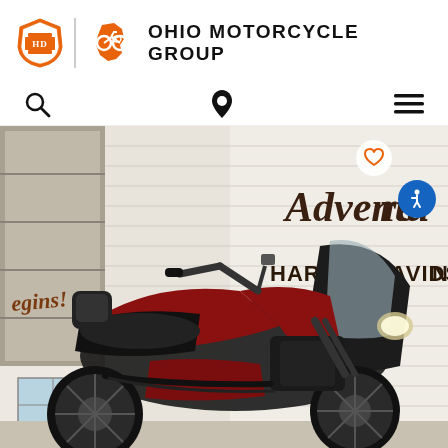[Figure (logo): Ohio Motorcycle Group logo with Harley-Davidson shield icon and Ohio state motorcycle icon, orange color]
OHIO MOTORCYCLE GROUP
[Figure (screenshot): Navigation bar with search icon, location pin icon, and hamburger menu icon]
[Figure (photo): A red and black Harley-Davidson motorcycle (touring/Ultra Limited style) parked inside a dealership showroom. Background shows 'Adventure Begins! Harley-Davidson' signage on the wall. A white heart favorite button and blue accessibility button overlay the photo.]